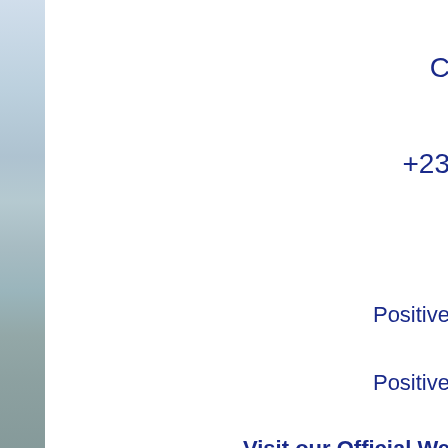[Figure (photo): Partial view of a road or landscape photo on the left side of the page, partially cropped]
C
+23
Positive
Positive
Visit our Official We
http:
http://hi
http://yp